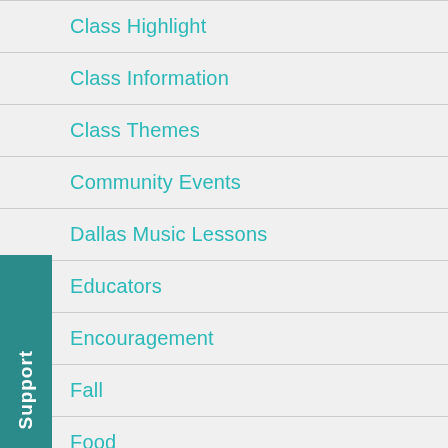Class Highlight
Class Information
Class Themes
Community Events
Dallas Music Lessons
Educators
Encouragement
Fall
Food
General
Guest Blogger